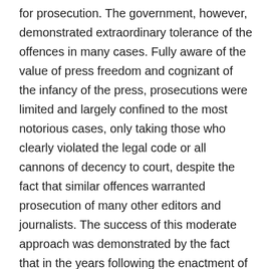for prosecution. The government, however, demonstrated extraordinary tolerance of the offences in many cases. Fully aware of the value of press freedom and cognizant of the infancy of the press, prosecutions were limited and largely confined to the most notorious cases, only taking those who clearly violated the legal code or all cannons of decency to court, despite the fact that similar offences warranted prosecution of many other editors and journalists. The success of this moderate approach was demonstrated by the fact that in the years following the enactment of the constitution many of the papers which had so loudly promoted a mantra of militant journalism steadily lost readers, appalled by their nauseating scaremongering and their writings encouraging hatred and violence. Many of them folded.